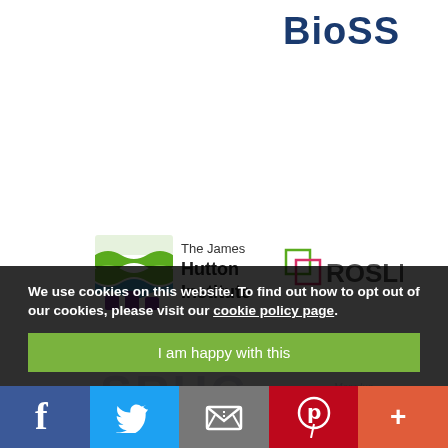[Figure (logo): BioSS logo — bold dark blue text reading 'BioSS']
[Figure (logo): The James Hutton Institute logo with green wavy stripes and purple columns icon, beside text 'The James Hutton Institute']
[Figure (logo): Roslin Institute logo — geometric diamond shape in green and pink, with text 'ROSLIN']
[Figure (logo): Partial SRUC logo visible in background]
[Figure (logo): Partial Moredun Research Institute logo visible in background]
We use cookies on this website. To find out how to opt out of our cookies, please visit our cookie policy page.
I am happy with this